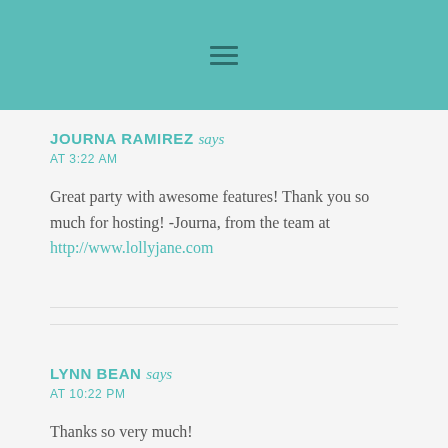☰
JOURNA RAMIREZ says
AT 3:22 AM
Great party with awesome features! Thank you so much for hosting! -Journa, from the team at http://www.lollyjane.com
LYNN BEAN says
AT 10:22 PM
Thanks so very much!